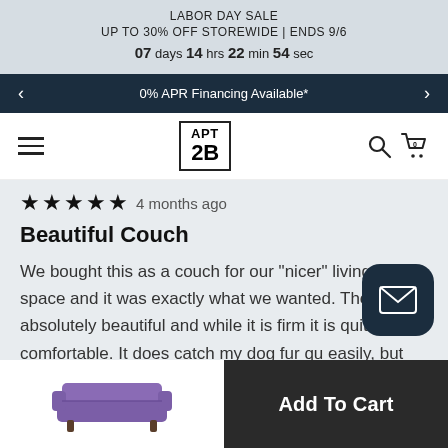LABOR DAY SALE
UP TO 30% OFF STOREWIDE | ENDS 9/6
07 days 14 hrs 22 min 54 sec
0% APR Financing Available*
[Figure (logo): APT 2B logo in bordered box with hamburger menu, search icon, and cart icon]
★★★★★  4 months ago
Beautiful Couch
We bought this as a couch for our "nicer" living room space and it was exactly what we wanted. The color is absolutely beautiful and while it is firm it is quite comfortable. It does catch my dog fur qu easily, but also easy to vacuum up. We got the peacock velvet and it is a very rich color!
[Figure (photo): Purple/violet sofa product thumbnail]
Add To Cart